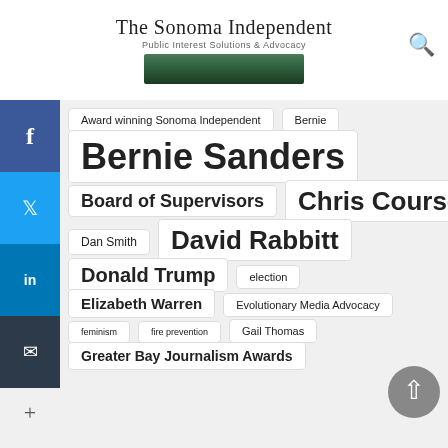The Sonoma Independent — Public Interest Solutions & Advocacy
Award winning Sonoma Independent
Bernie
Bernie Sanders
Board of Supervisors
Chris Coursey
Dan Smith
David Rabbitt
Donald Trump
election
Elizabeth Warren
Evolutionary Media Advocacy
feminism
fire prevention
Gail Thomas
Greater Bay Journalism Awards